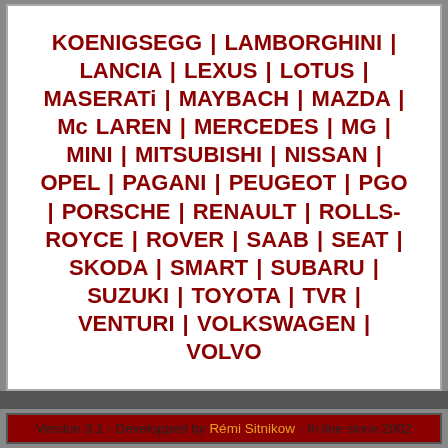KOENIGSEGG | LAMBORGHINI | LANCIA | LEXUS | LOTUS | MASERATi | MAYBACH | MAZDA | Mc LAREN | MERCEDES | MG | MINI | MITSUBISHI | NISSAN | OPEL | PAGANI | PEUGEOT | PGO | PORSCHE | RENAULT | ROLLS-ROYCE | ROVER | SAAB | SEAT | SKODA | SMART | SUBARU | SUZUKI | TOYOTA | TVR | VENTURI | VOLKSWAGEN | VOLVO
Version 3.1 - Developped by Rémi Sitnikow - In line since 2002